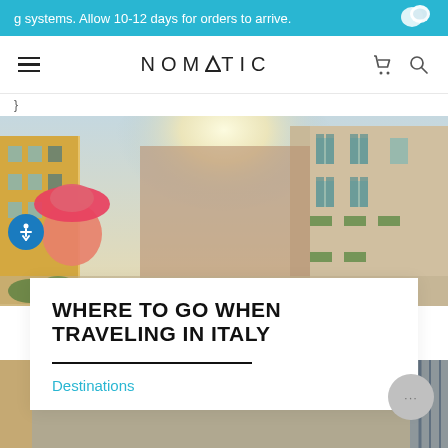g systems. Allow 10-12 days for orders to arrive.
NOMATIC
}
[Figure (photo): Street scene in Italy with colorful buildings, a person in a pink hat, sunlight at end of the alley]
WHERE TO GO WHEN TRAVELING IN ITALY
Destinations